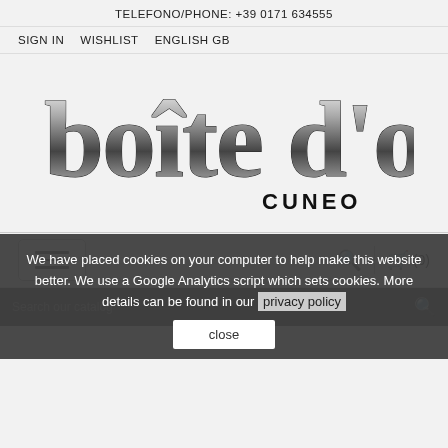TELEFONO/PHONE: +39 0171 634555
SIGN IN   WISHLIST   ENGLISH GB
[Figure (logo): Boite d'or Cuneo logo — stylized metallic 3D lettering 'boîte d'or' with 'CUNEO' below in bold sans-serif]
hamburger menu icon | search icon | cart (0)
We have placed cookies on your computer to help make this website better. We use a Google Analytics script which sets cookies. More details can be found in our privacy policy
close